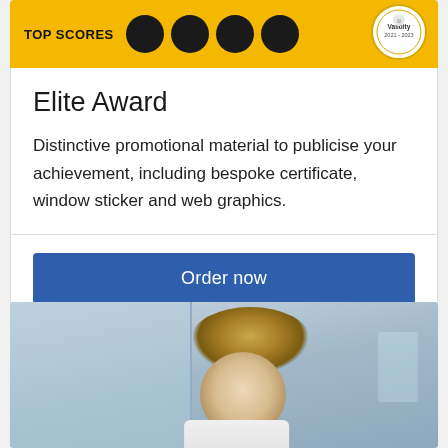[Figure (illustration): Yellow banner with TOP SCORES label, three dark score circles/badges, and a circular validity badge reading Validity 2021-2023 in the top right corner]
Elite Award
Distinctive promotional material to publicise your achievement, including bespoke certificate, window sticker and web graphics.
Order now
[Figure (photo): Photo of a person with blonde/light brown hair looking downward, wearing a white shirt, in what appears to be a laboratory or office with glass partitions in the background]